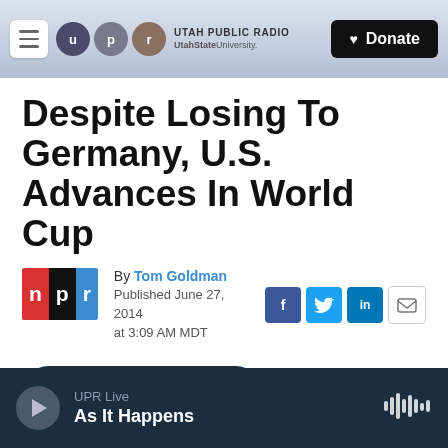UTAH PUBLIC RADIO — UtahStateUniversity. — Donate
Despite Losing To Germany, U.S. Advances In World Cup
By Tom Goldman
Published June 27, 2014 at 3:09 AM MDT
[Figure (other): LISTEN • 4:30 audio player button]
UPR Live — As It Happens